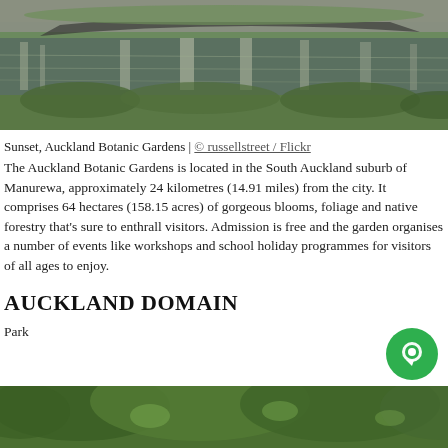[Figure (photo): Photograph of Auckland Botanic Gardens showing a pond with reflections of trees and a stone wall path in the background, lush green grass and vegetation.]
Sunset, Auckland Botanic Gardens | © russellstreet / Flickr
The Auckland Botanic Gardens is located in the South Auckland suburb of Manurewa, approximately 24 kilometres (14.91 miles) from the city. It comprises 64 hectares (158.15 acres) of gorgeous blooms, foliage and native forestry that's sure to enthrall visitors. Admission is free and the garden organises a number of events like workshops and school holiday programmes for visitors of all ages to enjoy.
AUCKLAND DOMAIN
Park
[Figure (photo): Partial photo of lush green tree canopy, bottom of page.]